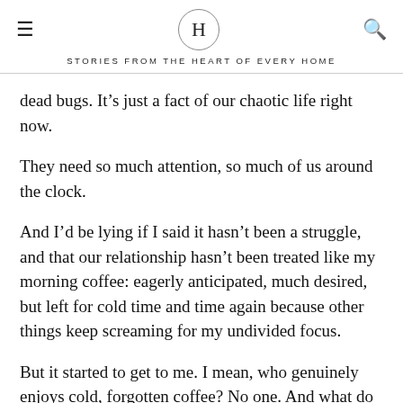H — STORIES FROM THE HEART OF EVERY HOME
dead bugs. It's just a fact of our chaotic life right now.
They need so much attention, so much of us around the clock.
And I'd be lying if I said it hasn't been a struggle, and that our relationship hasn't been treated like my morning coffee: eagerly anticipated, much desired, but left for cold time and time again because other things keep screaming for my undivided focus.
But it started to get to me. I mean, who genuinely enjoys cold, forgotten coffee? No one. And what do you do when your coffee gets cold? You stick it in the microwave to warm it back up.